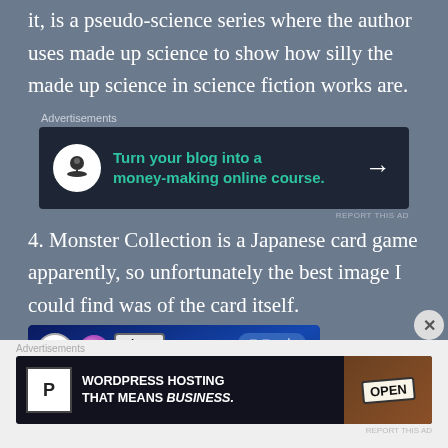it, is a pseudo-science series where the author uses made up science to show how silly the made up science in science fiction works are.
[Figure (screenshot): Advertisement banner with dark background showing 'Turn your blog into a money-making online course.' with a bonsai tree icon and arrow]
4. Monster Collection is a Japanese card game apparently, so unfortunately the best image I could find was of the card itself.
[Figure (photo): Monster Collection Japanese card game card showing a blue dragon with kanji text, level 6 badge, 6/5 stats, and unit badge in Japanese]
[Figure (screenshot): Bottom advertisement for WordPress Hosting with 'WORDPRESS HOSTING THAT MEANS BUSINESS.' text and an OPEN sign image]